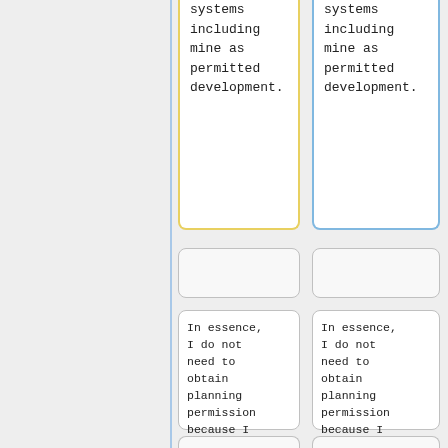systems including mine as permitted development.
systems including mine as permitted development.
In essence, I do not need to obtain planning permission because I meet the various criteria for the site and for the system:
In essence, I do not need to obtain planning permission because I meet the various criteria for the site and for the system: